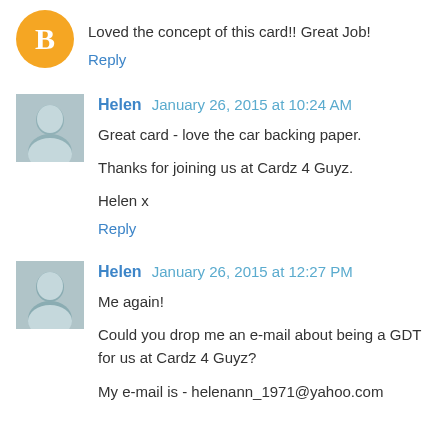Loved the concept of this card!! Great Job!
Reply
Helen  January 26, 2015 at 10:24 AM
Great card - love the car backing paper.
Thanks for joining us at Cardz 4 Guyz.
Helen x
Reply
Helen  January 26, 2015 at 12:27 PM
Me again!
Could you drop me an e-mail about being a GDT for us at Cardz 4 Guyz?
My e-mail is - helenann_1971@yahoo.com